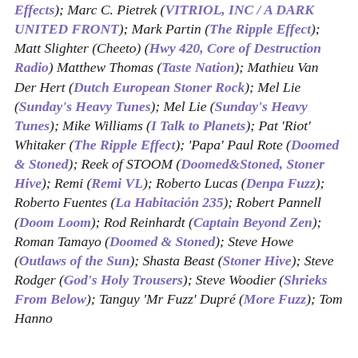Effects); Marc C. Pietrek (VITRIOL, INC / A DARK UNITED FRONT); Mark Partin (The Ripple Effect); Matt Slighter (Cheeto) (Hwy 420, Core of Destruction Radio) Matthew Thomas (Taste Nation); Mathieu Van Der Hert (Dutch European Stoner Rock); Mel Lie (Sunday's Heavy Tunes); Mel Lie (Sunday's Heavy Tunes); Mike Williams (I Talk to Planets); Pat 'Riot' Whitaker (The Ripple Effect); 'Papa' Paul Rote (Doomed & Stoned); Reek of STOOM (Doomed&Stoned, Stoner Hive); Remi (Remi VL); Roberto Lucas (Denpa Fuzz); Roberto Fuentes (La Habitación 235); Robert Pannell (Doom Loom); Rod Reinhardt (Captain Beyond Zen); Roman Tamayo (Doomed & Stoned); Steve Howe (Outlaws of the Sun); Shasta Beast (Stoner Hive); Steve Rodger (God's Holy Trousers); Steve Woodier (Shrieks From Below); Tanguy 'Mr Fuzz' Dupré (More Fuzz); Tom Hanno